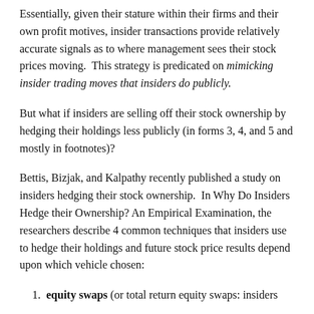Essentially, given their stature within their firms and their own profit motives, insider transactions provide relatively accurate signals as to where management sees their stock prices moving. This strategy is predicated on mimicking insider trading moves that insiders do publicly.
But what if insiders are selling off their stock ownership by hedging their holdings less publicly (in forms 3, 4, and 5 and mostly in footnotes)?
Bettis, Bizjak, and Kalpathy recently published a study on insiders hedging their stock ownership. In Why Do Insiders Hedge their Ownership? An Empirical Examination, the researchers describe 4 common techniques that insiders use to hedge their holdings and future stock price results depend upon which vehicle chosen:
equity swaps (or total return equity swaps: insiders